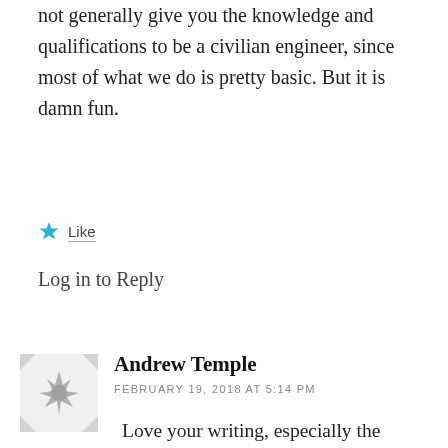not generally give you the knowledge and qualifications to be a civilian engineer, since most of what we do is pretty basic. But it is damn fun.
Like
Log in to Reply
Andrew Temple
FEBRUARY 19, 2018 AT 5:14 PM
Love your writing, especially the recent piece on the military history of gin! As a distiller of Navy Strength gin here in WA